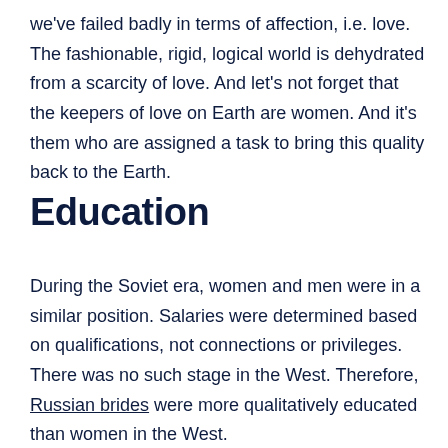we've failed badly in terms of affection, i.e. love. The fashionable, rigid, logical world is dehydrated from a scarcity of love. And let's not forget that the keepers of love on Earth are women. And it's them who are assigned a task to bring this quality back to the Earth.
Education
During the Soviet era, women and men were in a similar position. Salaries were determined based on qualifications, not connections or privileges. There was no such stage in the West. Therefore, Russian brides were more qualitatively educated than women in the West.